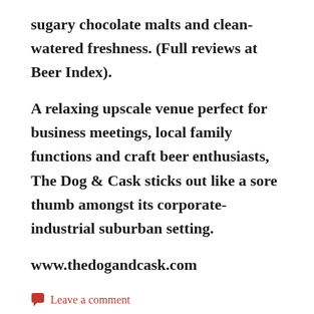sugary chocolate malts and clean-watered freshness. (Full reviews at Beer Index).
A relaxing upscale venue perfect for business meetings, local family functions and craft beer enthusiasts, The Dog & Cask sticks out like a sore thumb amongst its corporate-industrial suburban setting.
www.thedogandcask.com
Leave a comment